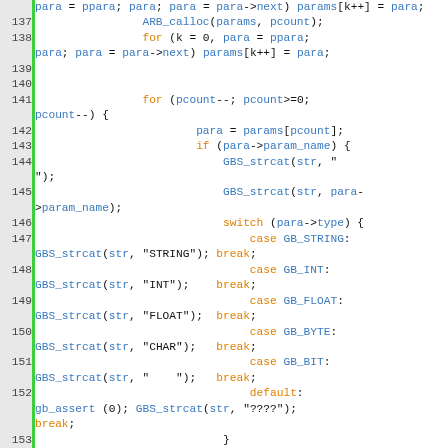[Figure (screenshot): Source code listing lines 137-156 showing C code with syntax highlighting. Line numbers on left in gray background with green border. Keywords in orange, function/variable names in blue, other code in black monospace font.]